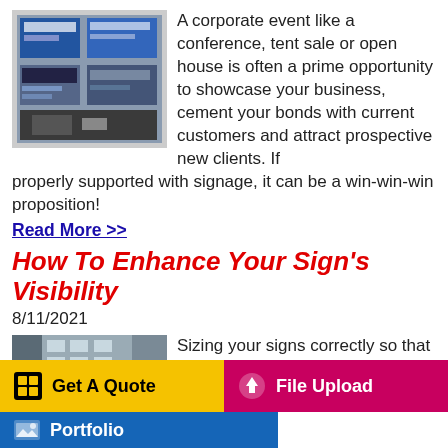[Figure (photo): Photo of a corporate event display booth with signage and promotional materials]
A corporate event like a conference, tent sale or open house is often a prime opportunity to showcase your business, cement your bonds with current customers and attract prospective new clients. If properly supported with signage, it can be a win-win-win proposition!
Read More >>
How To Enhance Your Sign's Visibility
8/11/2021
[Figure (photo): Photo of a building with a large red banner sign reading 'john ross']
Sizing your signs correctly so that your message can be seen can be a challenge. Learn how you can pick the right sign and how to size it for your needs, no matter